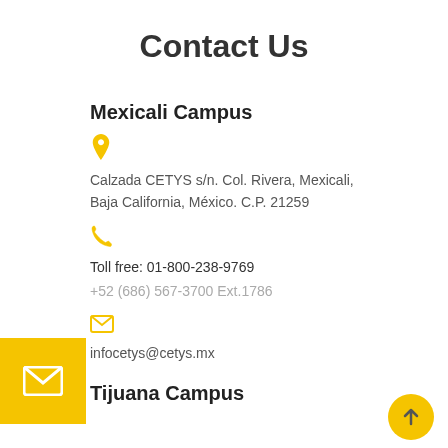Contact Us
Mexicali Campus
[Figure (illustration): Yellow map pin / location icon]
Calzada CETYS s/n. Col. Rivera, Mexicali, Baja California, México. C.P. 21259
[Figure (illustration): Yellow phone / telephone icon]
Toll free: 01-800-238-9769
+52 (686) 567-3700 Ext.1786
[Figure (illustration): Yellow mail / envelope icon (small inline)]
infocetys@cetys.mx
[Figure (illustration): Yellow envelope icon large tab on left side]
[Figure (illustration): Yellow circle with up arrow button bottom right]
Tijuana Campus